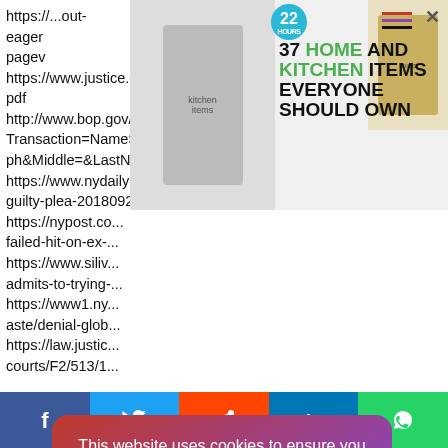https://...out-eager...pageview...
https://www.justice.gov/usao/nys/pressreleases/October03/creaplea.pdf
http://www.bop.gov/iloc2/InmateFinderServlet?Transaction=NameSearch&needingMoreList=false&FirstName=Joseph&Middle=&LastName=Datello&Race=W&Sex=M&Age=&x=0&y=0
https://www.nydailynews.com/new-york/nyc-crime/ny-metro-witness-guilty-plea-20180924-story.html
https://nypost.co.../failed-hit-on-ex-...
https://www.siliv.../admits-to-trying-...
https://www1.ny.../aste/denial-glob...
https://law.justic.../courts/F2/513/1...
[Figure (screenshot): Advertisement banner: '37 HOME AND KITCHEN ITEMS EVERYONE SHOULD OWN' with kitchen appliance images and a 22-badge logo, with X close button and hamburger menu]
[Figure (screenshot): Cookie consent popup: 'This website uses cookies to ensure you get the best experience on our website. Learn more' with a 'Got it!' button, gradient pink/purple background]
[Figure (infographic): Social share bar at bottom: Facebook (blue), Twitter (light blue), Reddit (orange), LinkedIn (dark blue), WhatsApp (green)]